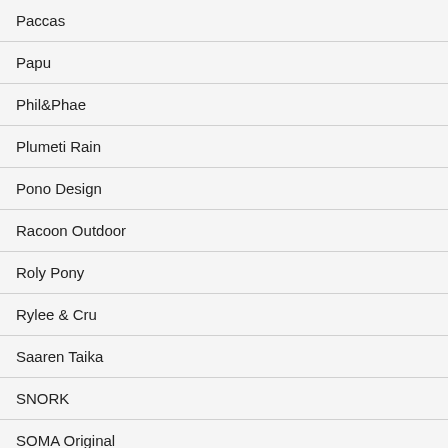Paccas
Papu
Phil&Phae
Plumeti Rain
Pono Design
Racoon Outdoor
Roly Pony
Rylee & Cru
Saaren Taika
SNORK
SOMA Original